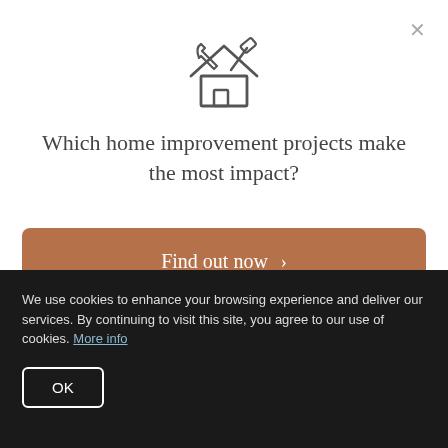[Figure (illustration): A house icon with tools (wrench and hammer) overlaid, drawn in outline style]
Which home improvement projects make the most impact?
Find out now >
SUPPLIERS HAS BEEN ADVISED OF THE POSSIBILITY OF DAMAGES. BECAUSE SOME JURISDICTIONS DO NOT ALLOW THE
We use cookies to enhance your browsing experience and deliver our services. By continuing to visit this site, you agree to our use of cookies. More info
OK